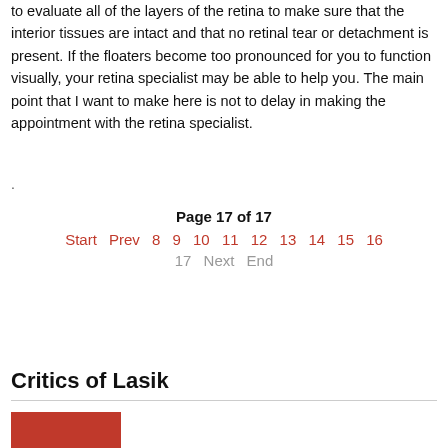to evaluate all of the layers of the retina to make sure that the interior tissues are intact and that no retinal tear or detachment is present. If the floaters become too pronounced for you to function visually, your retina specialist may be able to help you. The main point that I want to make here is not to delay in making the appointment with the retina specialist.
Page 17 of 17 | Start Prev 8 9 10 11 12 13 14 15 16 17 Next End
Critics of Lasik